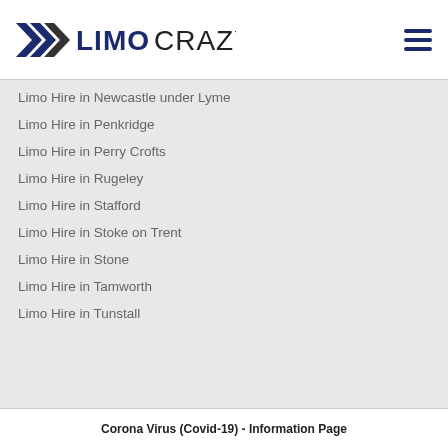[Figure (logo): LimoCrazy logo with double arrow chevron icon and text LIMOCRAZY]
Limo Hire in Newcastle under Lyme
Limo Hire in Penkridge
Limo Hire in Perry Crofts
Limo Hire in Rugeley
Limo Hire in Stafford
Limo Hire in Stoke on Trent
Limo Hire in Stone
Limo Hire in Tamworth
Limo Hire in Tunstall
Corona Virus (Covid-19) - Information Page